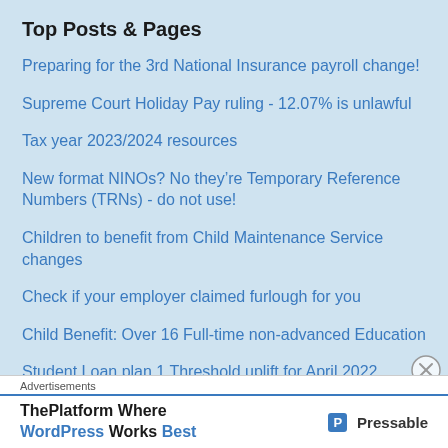Top Posts & Pages
Preparing for the 3rd National Insurance payroll change!
Supreme Court Holiday Pay ruling - 12.07% is unlawful
Tax year 2023/2024 resources
New format NINOs? No they're Temporary Reference Numbers (TRNs) - do not use!
Children to benefit from Child Maintenance Service changes
Check if your employer claimed furlough for you
Child Benefit: Over 16 Full-time non-advanced Education
Student Loan plan 1 Threshold uplift for April 2022 confirmed
Advertisements
ThePlatform Where WordPress Works Best — Pressable